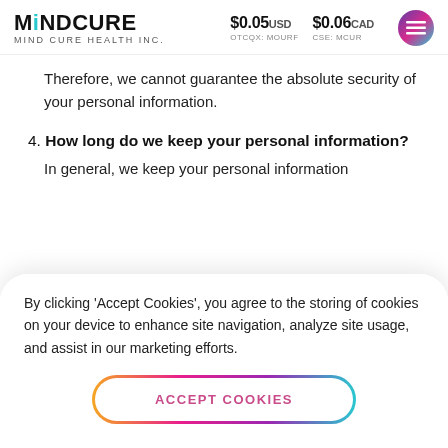MINDCURE / MIND CURE HEALTH INC. | $0.05 USD OTCQX: MOURF | $0.06 CAD CSE: MCUR
Therefore, we cannot guarantee the absolute security of your personal information.
4. How long do we keep your personal information?
In general, we keep your personal information
By clicking 'Accept Cookies', you agree to the storing of cookies on your device to enhance site navigation, analyze site usage, and assist in our marketing efforts.
ACCEPT COOKIES